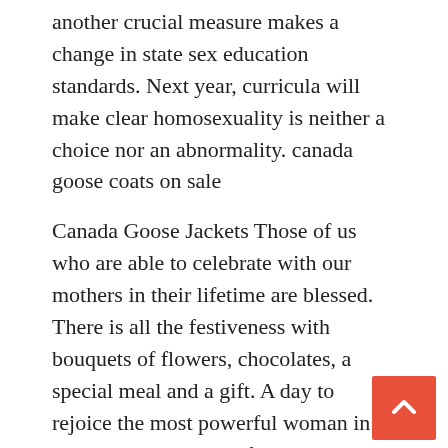another crucial measure makes a change in state sex education standards. Next year, curricula will make clear homosexuality is neither a choice nor an abnormality. canada goose coats on sale
Canada Goose Jackets Those of us who are able to celebrate with our mothers in their lifetime are blessed. There is all the festiveness with bouquets of flowers, chocolates, a special meal and a gift. A day to rejoice the most powerful woman in our lives, who some of us will end up becoming in our later years. Canada Goose Jackets
canada goose black friday sale Now, what choices people have maybe has gotten a little bit more complicated. ISPs have historically played a very small role in (the ad targeting) market for a range